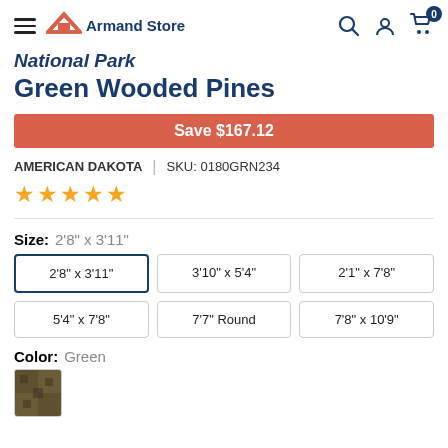Armand Store
National Park Green Wooded Pines
Save $167.12
AMERICAN DAKOTA | SKU: 0180GRN234
★★★★★
Size: 2'8" x 3'11"
2'8" x 3'11"
3'10" x 5'4"
2'1" x 7'8"
5'4" x 7'8"
7'7" Round
7'8" x 10'9"
Color: Green
[Figure (photo): Green color swatch thumbnail for National Park Green Wooded Pines rug]